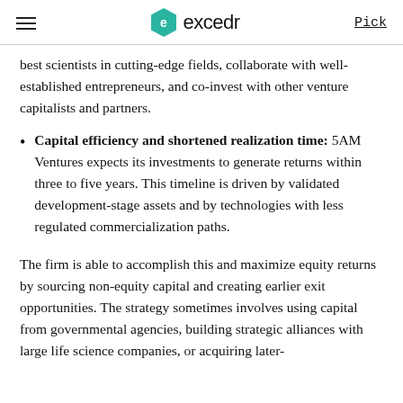excedr  Pick
best scientists in cutting-edge fields, collaborate with well-established entrepreneurs, and co-invest with other venture capitalists and partners.
Capital efficiency and shortened realization time: 5AM Ventures expects its investments to generate returns within three to five years. This timeline is driven by validated development-stage assets and by technologies with less regulated commercialization paths.
The firm is able to accomplish this and maximize equity returns by sourcing non-equity capital and creating earlier exit opportunities. The strategy sometimes involves using capital from governmental agencies, building strategic alliances with large life science companies, or acquiring later-